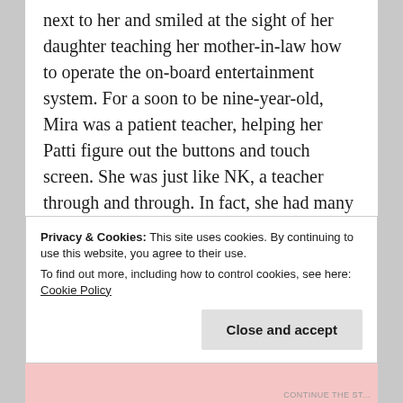next to her and smiled at the sight of her daughter teaching her mother-in-law how to operate the on-board entertainment system. For a soon to be nine-year-old, Mira was a patient teacher, helping her Patti figure out the buttons and touch screen. She was just like NK, a teacher through and through. In fact, she had many of his mannerisms – when she was deep in thought she pulled the curls near her temple as if to straighten them.
Privacy & Cookies: This site uses cookies. By continuing to use this website, you agree to their use.
To find out more, including how to control cookies, see here: Cookie Policy
CONTINUE THE ST...